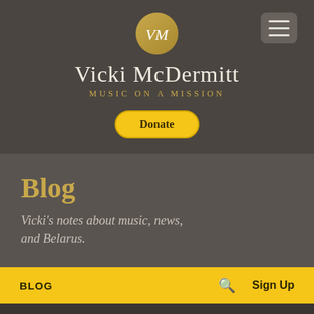[Figure (logo): VM logo circle in gold with white italic VM initials, plus hamburger menu button top-right]
Vicki McDermitt
Music on a Mission
Donate
Blog
Vicki's notes about music, news, and Belarus.
BLOG  🔍  Sign Up
UPDATES
[Figure (photo): Partial photo strip visible at bottom of page showing sky and other imagery]